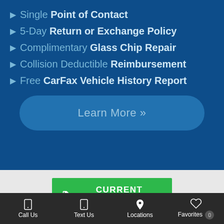▶ Single Point of Contact
▶ 5-Day Return or Exchange Policy
▶ Complimentary Glass Chip Repair
▶ Collision Deductible Reimbursement
▶ Free CarFax Vehicle History Report
Learn More »
CURRENT OFFERS
Call Us  Text Us  Locations  Favorites 0